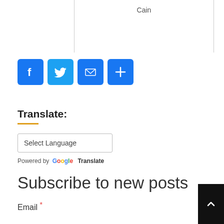Cain
[Figure (infographic): Social sharing buttons: Facebook (blue f icon), Twitter (blue bird icon), Email (blue envelope icon), Share/Plus (blue plus icon)]
Translate:
Select Language
Powered by Google Translate
Subscribe to new posts
Email *